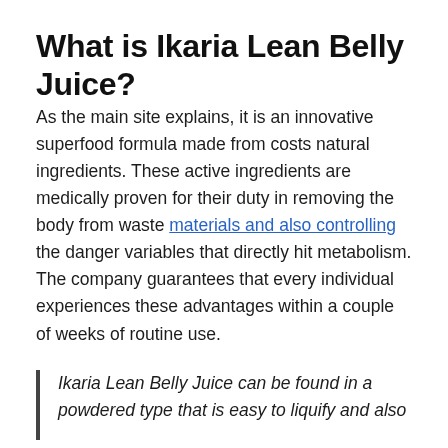What is Ikaria Lean Belly Juice?
As the main site explains, it is an innovative superfood formula made from costs natural ingredients. These active ingredients are medically proven for their duty in removing the body from waste materials and also controlling the danger variables that directly hit metabolism. The company guarantees that every individual experiences these advantages within a couple of weeks of routine use.
Ikaria Lean Belly Juice can be found in a powdered type that is easy to liquify and also